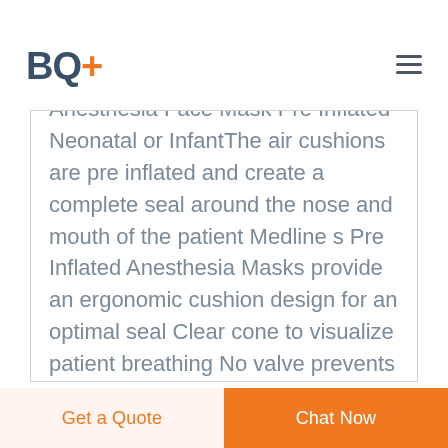BQ+
Anesthesia Face Mask Pre Inflated Neonatal or InfantThe air cushions are pre inflated and create a complete seal around the nose and mouth of the patient Medline s Pre Inflated Anesthesia Masks provide an ergonomic cushion design for an optimal seal Clear cone to visualize patient breathing No valve prevents mask deflation Available in Antistatic Face Mask Manufacturer Antistatic Face Mask Medisafe International is a well known Manufacturer Exporter Supplier of Antistatic Face Mask in Delhi Antistatic Face Mask Exporter Antistatic Face Mask Supplier Delhi Antistatic Face Mask Manufacturing
Get a Quote   Chat Now